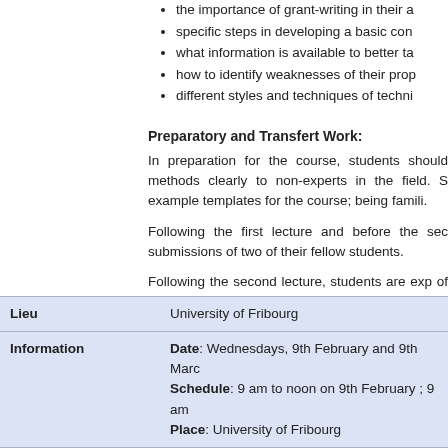the importance of grant-writing in their a
specific steps in developing a basic con
what information is available to better ta
how to identify weaknesses of their prop
different styles and techniques of techni
Preparatory and Transfert Work:
In preparation for the course, students should methods clearly to non-experts in the field. S example templates for the course; being famili.
Following the first lecture and before the sec submissions of two of their fellow students.
Following the second lecture, students are exp of peers and information from lectures. This fir
|  |  |
| --- | --- |
| Lieu | University of Fribourg |
| Information | Date: Wednesdays, 9th February and 9th Marc
Schedule: 9 am to noon on 9th February ; 9 am
Place: University of Fribourg |